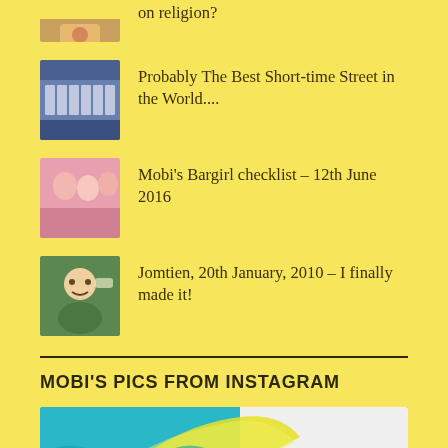on religion?
Probably The Best Short-time Street in the World....
Mobi's Bargirl checklist – 12th June 2016
Jomtien, 20th January, 2010 – I finally made it!
MOBI'S PICS FROM INSTAGRAM
[Figure (photo): Instagram photo showing teal/blue and yellow swirl abstract design]